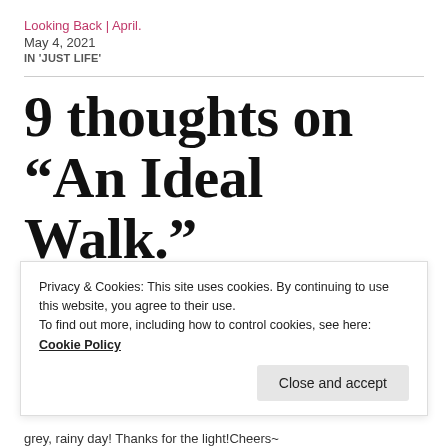Looking Back | April.
May 4, 2021
IN 'JUST LIFE'
9 thoughts on “An Ideal Walk.”
Privacy & Cookies: This site uses cookies. By continuing to use this website, you agree to their use.
To find out more, including how to control cookies, see here: Cookie Policy
Close and accept
grey, rainy day! Thanks for the light!Cheers~